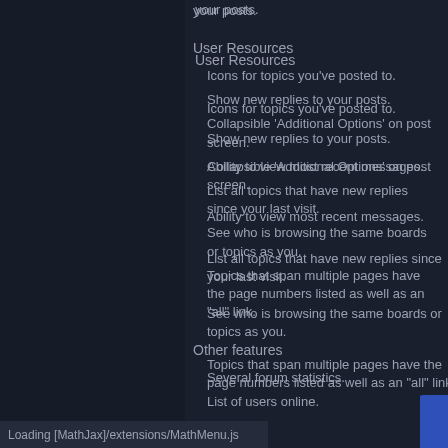your posts.
User Resources
Icons for topics you've posted to.
Show new replies to your posts.
Collapsible 'Additional Options' on post screen.
Ability to view most recent messages.
List all topics that have new replies since your last visit.
See who is browsing the same boards or topics as you.
Topics that span multiple pages have the page numbers listed as well as an "all" link.
Other features
Several forum statistics.
List of users online.
The menu bar.
News.
Search.
Login/logout.
Loading [MathJax]/extensions/MathMenu.js